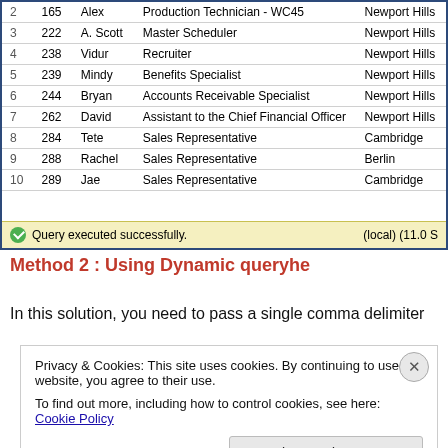[Figure (screenshot): SQL Server Management Studio query result table showing employee records with columns for row number, ID, first name, job title, and city. Rows 2-10 are visible. A yellow status bar at the bottom reads 'Query executed successfully.' and '(local) (11.0 S'.]
Method 2 : Using Dynamic queryhe
In this solution, you need to pass a single comma delimiter
Privacy & Cookies: This site uses cookies. By continuing to use this website, you agree to their use.
To find out more, including how to control cookies, see here: Cookie Policy